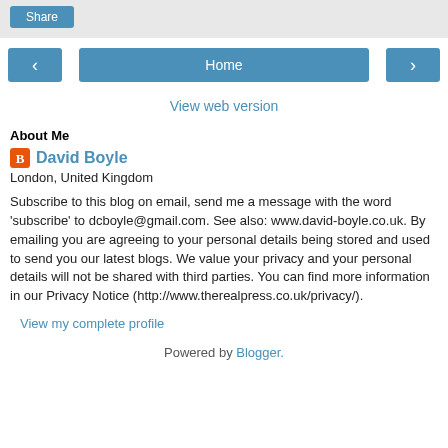Share
[Figure (screenshot): Navigation row with left arrow button, Home button, and right arrow button]
View web version
About Me
David Boyle
London, United Kingdom
Subscribe to this blog on email, send me a message with the word 'subscribe' to dcboyle@gmail.com. See also: www.david-boyle.co.uk. By emailing you are agreeing to your personal details being stored and used to send you our latest blogs. We value your privacy and your personal details will not be shared with third parties. You can find more information in our Privacy Notice (http://www.therealpress.co.uk/privacy/).
View my complete profile
Powered by Blogger.